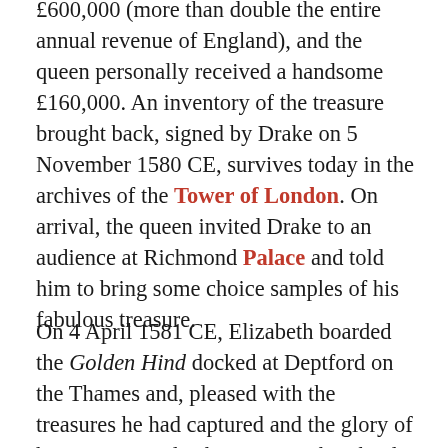£600,000 (more than double the entire annual revenue of England), and the queen personally received a handsome £160,000. An inventory of the treasure brought back, signed by Drake on 5 November 1580 CE, survives today in the archives of the Tower of London. On arrival, the queen invited Drake to an audience at Richmond Palace and told him to bring some choice samples of his fabulous treasure.
On 4 April 1581 CE, Elizabeth boarded the Golden Hind docked at Deptford on the Thames and, pleased with the treasures he had captured and the glory of his navigational achievements, knighted Drake on its decks. This outraged the Spanish ambassador who regarded Drake as nothing more than a pirate. However, if the queen knighted Drake and took from him a part of his